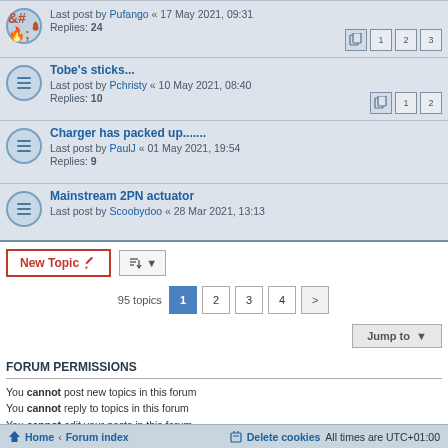Last post by Pufango « 17 May 2021, 09:31 | Replies: 24
Tobe's sticks... | Last post by Pchristy « 10 May 2021, 08:40 | Replies: 10
Charger has packed up....... | Last post by PaulJ « 01 May 2021, 19:54 | Replies: 9
Mainstream 2PN actuator | Last post by Scoobydoo « 28 Mar 2021, 13:13
95 topics | Pages: 1 2 3 4 >
Jump to
FORUM PERMISSIONS
You cannot post new topics in this forum
You cannot reply to topics in this forum
You cannot edit your posts in this forum
You cannot delete your posts in this forum
You cannot post attachments in this forum
Home · Forum index | Delete cookies | All times are UTC+01:00